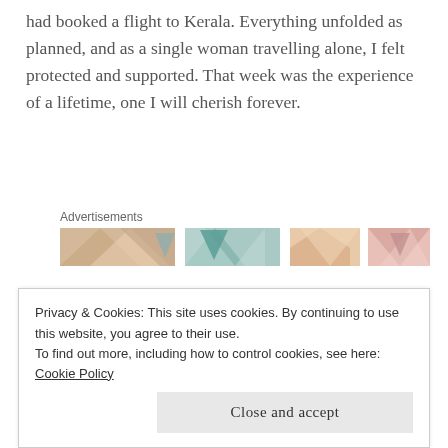had booked a flight to Kerala. Everything unfolded as planned, and as a single woman travelling alone, I felt protected and supported. That week was the experience of a lifetime, one I will cherish forever.
[Figure (other): Advertisements banner with decorative pastel-colored triangular/geometric pattern images]
Lastly, we went on to Kerala.  After struggling for a few years with a health issue and looking for healing alternatives, trusting my intuition, I'd chosen an
Privacy & Cookies: This site uses cookies. By continuing to use this website, you agree to their use.
To find out more, including how to control cookies, see here: Cookie Policy
a lot of ghee.  The pancha karma treatment was